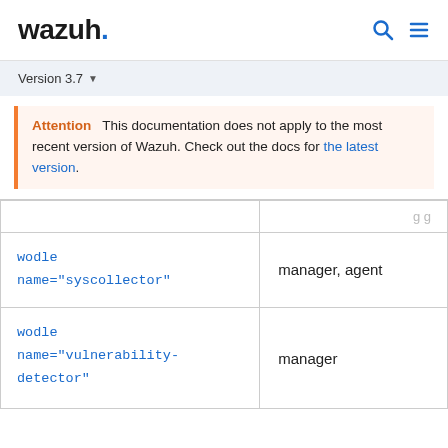wazuh.
Version 3.7
Attention  This documentation does not apply to the most recent version of Wazuh. Check out the docs for the latest version.
|  |  |
| --- | --- |
| wodle name="syscollector" | manager, agent |
| wodle name="vulnerability-detector" | manager |